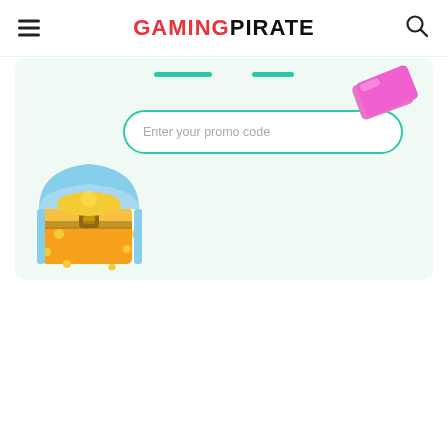GAMING PIRATE
[Figure (screenshot): Gaming Pirate website screenshot showing header with hamburger menu, Gaming Pirate logo in red and black, search icon, and a promo code entry section with a mint/teal colored input field saying 'Enter your promo code', a treasure chest illustration with gold coins on the left, and a pink gift ticket/card on the upper right, all on a light mint background.]